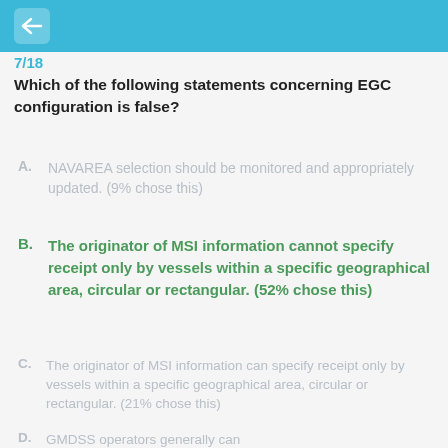7/18
Which of the following statements concerning EGC configuration is false?
A. NAVAREA selection should be monitored and appropriately updated. (9% chose this)
B. The originator of MSI information cannot specify receipt only by vessels within a specific geographical area, circular or rectangular. (52% chose this)
C. The originator of MSI information can specify receipt only by vessels within a specific geographical area, circular or rectangular. (21% chose this)
D. GMDSS operators generally can